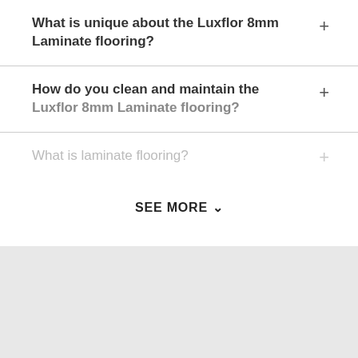What is unique about the Luxflor 8mm Laminate flooring?
How do you clean and maintain the Luxflor 8mm Laminate flooring?
What is laminate flooring?
SEE MORE ∨